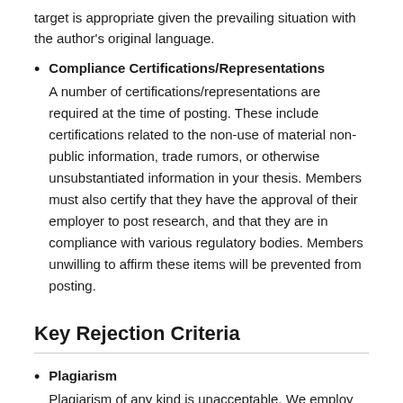target is appropriate given the prevailing situation with the author's original language.
Compliance Certifications/Representations
A number of certifications/representations are required at the time of posting. These include certifications related to the non-use of material non-public information, trade rumors, or otherwise unsubstantiated information in your thesis. Members must also certify that they have the approval of their employer to post research, and that they are in compliance with various regulatory bodies. Members unwilling to affirm these items will be prevented from posting.
Key Rejection Criteria
Plagiarism
Plagiarism of any kind is unacceptable. We employ